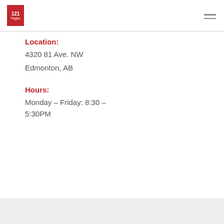121 Pages
Location:
4320 81 Ave. NW
Edmonton, AB
Hours:
Monday – Friday: 8:30 – 5:30PM